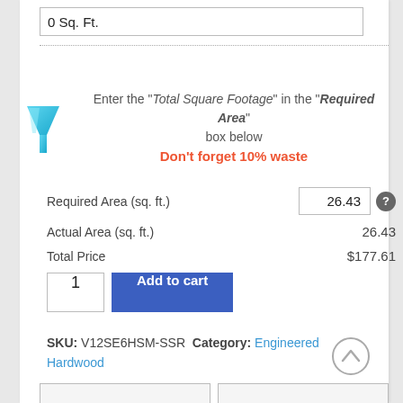0 Sq. Ft.
[Figure (illustration): Blue funnel/filter icon on the left side]
Enter the “Total Square Footage” in the “Required Area” box below
Don’t forget 10% waste
| Required Area (sq. ft.) | 26.43 |
| Actual Area (sq. ft.) | 26.43 |
| Total Price | $177.61 |
SKU: V12SE6HSM-SSR Category: Engineered Hardwood